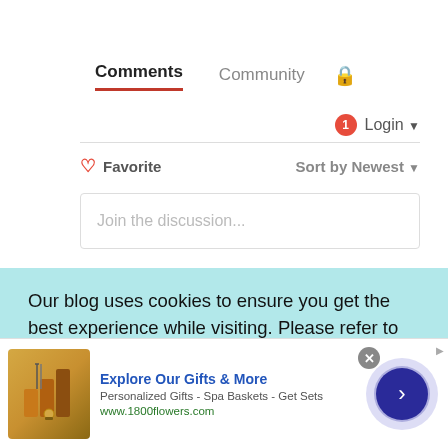Comments  Community  🔒
1  Login ▾
♡ Favorite    Sort by Newest ▾
Join the discussion...
Our blog uses cookies to ensure you get the best experience while visiting. Please refer to our Privacy Policy by using the navigation above
[Figure (screenshot): Advertisement for 1800flowers.com showing gift products, title 'Explore Our Gifts & More', subtitle 'Personalized Gifts - Spa Baskets - Get Sets', URL 'www.1800flowers.com', with close button and navigation arrow]